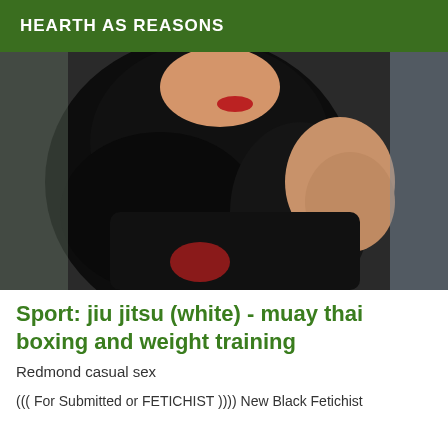HEARTH AS REASONS
[Figure (photo): A woman with long black hair wearing a black outfit, smiling, appearing to take a selfie indoors.]
Sport: jiu jitsu (white) - muay thai boxing and weight training
Redmond casual sex
((( For Submitted or FETICHIST )))) New Black Fetichist